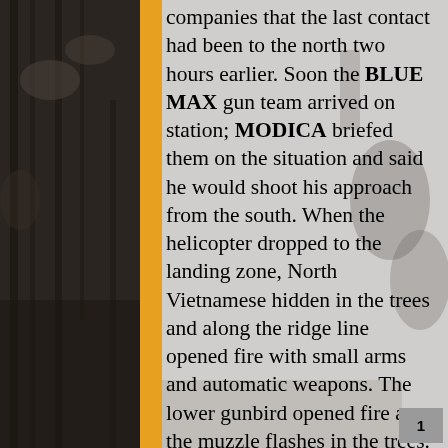[Figure (photo): Black and white background photograph showing soldiers/military personnel in a jungle/forest setting, with a vertical orange bar overlaid on the left-center portion of the page.]
companies that the last contact had been to the north two hours earlier. Soon the BLUE MAX gun team arrived on station; MODICA briefed them on the situation and said he would shoot his approach from the south. When the helicopter dropped to the landing zone, North Vietnamese hidden in the trees and along the ridge line opened fire with small arms and automatic weapons. The lower gunbird opened fire at the muzzle flashes in the trees. On its second pass it used its grenade launcher; the enemy redirected some of its fire and the gunship took its first hit. On its next run it again took enemy fire.
"Just before the MEDEVAC landed, two
1